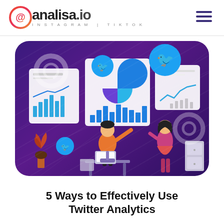analisa.io INSTAGRAM | TIKTOK
[Figure (illustration): Purple rounded-rectangle card illustration showing two people (one seated at a desk with a laptop, one standing) analyzing social media analytics dashboards with Twitter bird icons floating above, pie charts, bar charts, and line charts visible on the screens.]
5 Ways to Effectively Use Twitter Analytics